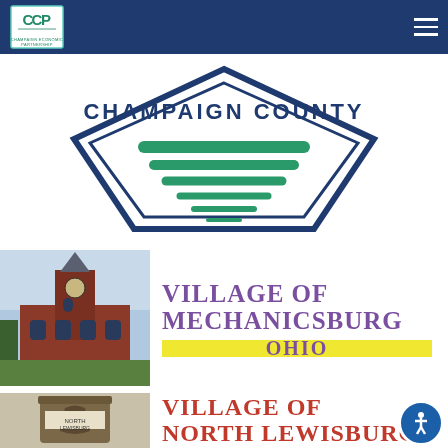CCP Champaign County Economic Partnership navigation bar
[Figure (logo): Champaign County logo: pentagon/diamond shape with green layered field stripes and 'CHAMPAIGN COUNTY' text in dark navy]
[Figure (photo): Historic red brick building with gothic tower - Mechanicsburg Ohio village hall]
[Figure (logo): Village of Mechanicsburg Ohio logo in purple serif font with yellow highlight bars]
[Figure (photo): Bell monument or archway at North Lewisburg]
[Figure (logo): Village of North Lewisburg text in red serif bold font]